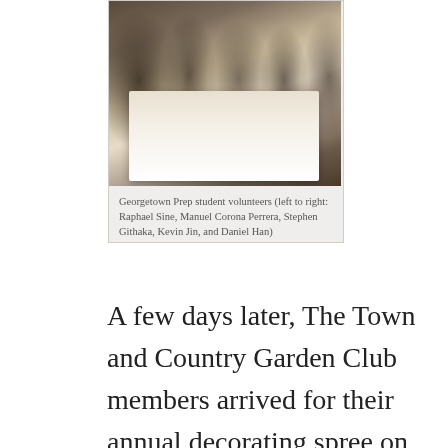[Figure (photo): Group photo of Georgetown Prep student volunteers standing behind a table in what appears to be a dining room setting. People are partially visible from waist down and torso up.]
Georgetown Prep student volunteers (left to right: Raphael Sine, Manuel Corona Perrera, Stephen Githaka, Kevin Jin, and Daniel Han)
A few days later, The Town and Country Garden Club members arrived for their annual decorating spree on behalf of the Home. Within a few short hours, the Home was transformed into an idyllic Christmas setting. Although we have no real apples, nuts, marzipan cookies, burning candles, or popcorn strings of yore, and our tree and most of our